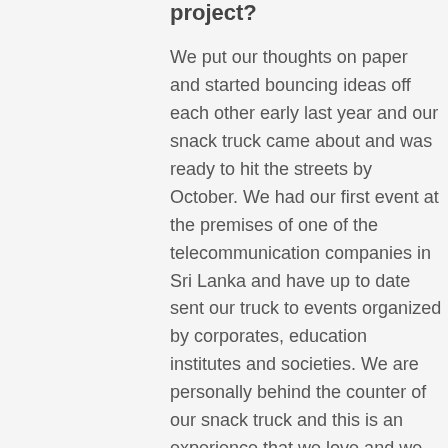project?
We put our thoughts on paper and started bouncing ideas off each other early last year and our snack truck came about and was ready to hit the streets by October. We had our first event at the premises of one of the telecommunication companies in Sri Lanka and have up to date sent our truck to events organized by corporates, education institutes and societies. We are personally behind the counter of our snack truck and this is an experience that we love and we wish to continue to always personally handle events